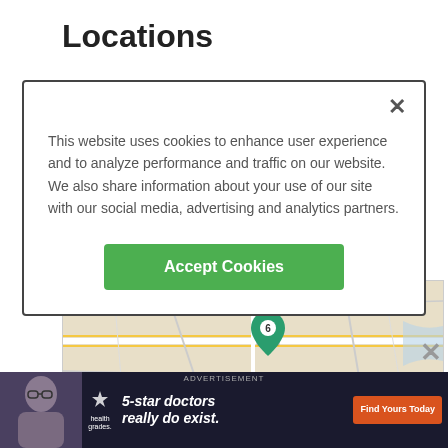Locations
This website uses cookies to enhance user experience and to analyze performance and traffic on our website. We also share information about your use of our site with our social media, advertising and analytics partners.
Accept Cookies
[Figure (map): OpenStreetMap map showing location near Richmond, VA with a teal marker labeled 6]
Mary Washington Hospital
1 Mary Washington Hospital
1001 Sam Perry Blvd, Fredericksburg, VA
[Figure (photo): Healthgrades advertisement: '5-star doctors really do exist.' with Find Yours Today button]